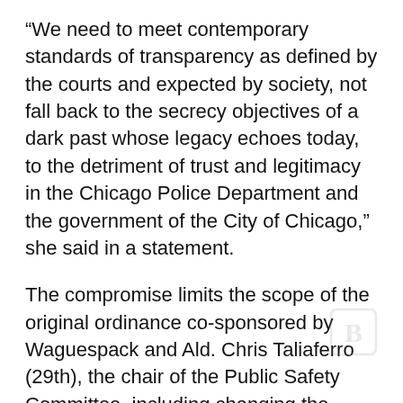“We need to meet contemporary standards of transparency as defined by the courts and expected by society, not fall back to the secrecy objectives of a dark past whose legacy echoes today, to the detriment of trust and legitimacy in the Chicago Police Department and the government of the City of Chicago,” she said in a statement.
The compromise limits the scope of the original ordinance co-sponsored by Waguespack and Ald. Chris Taliaferro (29th), the chair of the Public Safety Committee, including changing the definition of what constitutes a “finalized investigation” of misconduct.
The new measure strips a provision to include